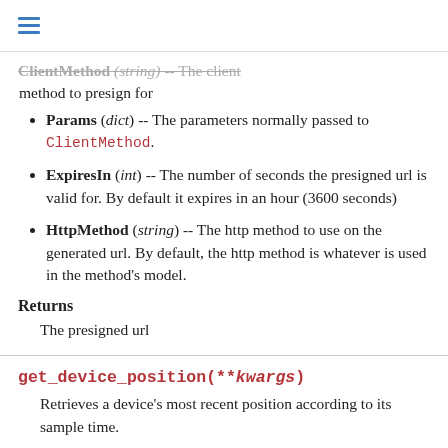ClientMethod (string) -- The client method to presign for
Params (dict) -- The parameters normally passed to ClientMethod.
ExpiresIn (int) -- The number of seconds the presigned url is valid for. By default it expires in an hour (3600 seconds)
HttpMethod (string) -- The http method to use on the generated url. By default, the http method is whatever is used in the method's model.
Returns
The presigned url
get_device_position(**kwargs)
Retrieves a device's most recent position according to its sample time.